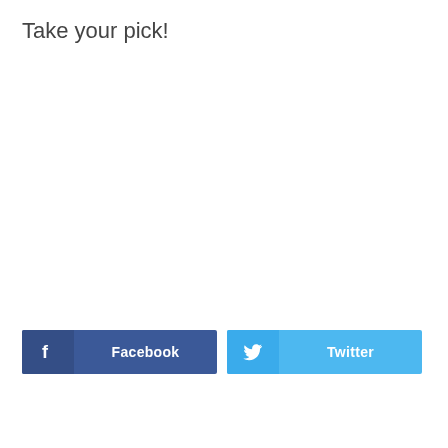Take your pick!
[Figure (infographic): Two social sharing buttons: a Facebook button (dark blue with white 'f' icon and 'Facebook' label) and a Twitter button (light blue with white bird icon and 'Twitter' label)]